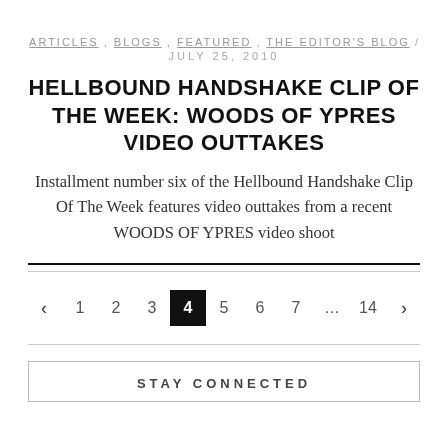ARTICLES , BLOGS , FEATURED , THE EDITOR'S BLOG / JULY 25, 2010
HELLBOUND HANDSHAKE CLIP OF THE WEEK: WOODS OF YPRES VIDEO OUTTAKES
Installment number six of the Hellbound Handshake Clip Of The Week features video outtakes from a recent WOODS OF YPRES video shoot
◄ 1 2 3 4 5 6 7 … 14 ►
STAY CONNECTED